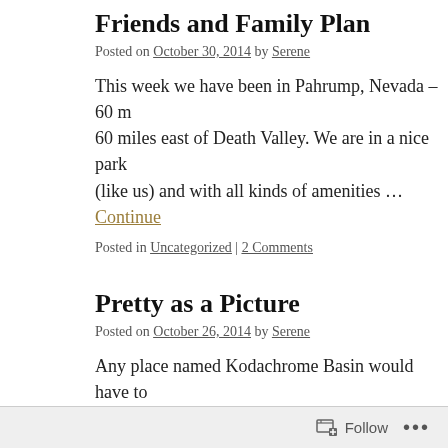Friends and Family Plan
Posted on October 30, 2014 by Serene
This week we have been in Pahrump, Nevada – 60 miles east of Death Valley. We are in a nice park (like us) and with all kinds of amenities … Continue
Posted in Uncategorized | 2 Comments
Pretty as a Picture
Posted on October 26, 2014 by Serene
Any place named Kodachrome Basin would have to be special. Eastman Kodak company gave permission to use their name for naming this remote Utah park just east of Bryce Ca… felt sick … Continue reading →
Posted in Uncategorized | 6 Comments
Follow ...